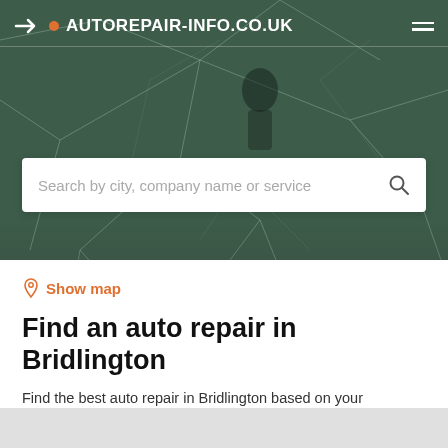AUTOREPAIR-INFO.CO.UK
[Figure (screenshot): Search box with placeholder: Search by city, company name or service]
Show map
Find an auto repair in Bridlington
Find the best auto repair in Bridlington based on your preferences. For example, use our filter options to search for damage appraisal, parts sales or major repairs. In our Terms and Conditions you will find more information about how our search results are generated.
Filters